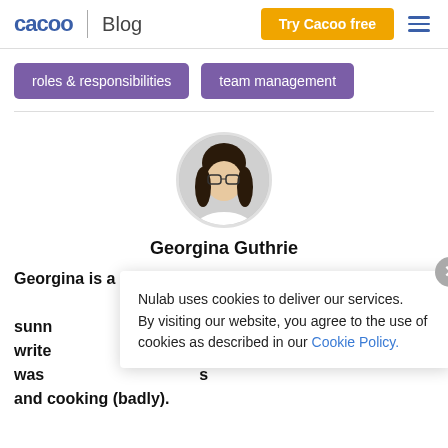cacoo Blog | Try Cacoo free
roles & responsibilities
team management
[Figure (photo): Circular profile photo of Georgina Guthrie, a woman with glasses and dark hair.]
Georgina Guthrie
Georgina is a displaced Brit currently working in Fran                                                    g to sunn                                                    write                                                    ne was                                                    s and cooking (badly).